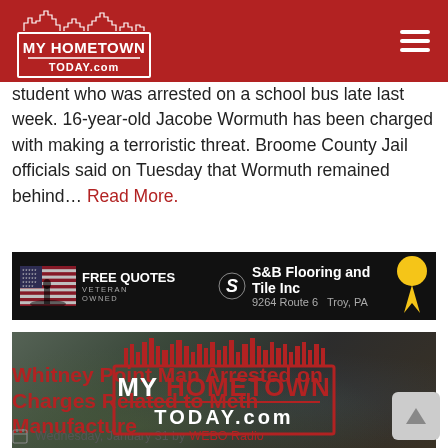[Figure (logo): My Hometown Today.com logo on red header bar with hamburger menu icon]
student who was arrested on a school bus late last week. 16-year-old Jacobe Wormuth has been charged with making a terroristic threat. Broome County Jail officials said on Tuesday that Wormuth remained behind... Read More.
[Figure (infographic): Advertisement banner: S&B Flooring and Tile Inc, FREE QUOTES VETERAN OWNED, 9264 Route 6 Troy, PA, with American flag imagery and yellow ribbon]
[Figure (logo): My Hometown Today.com promotional banner with aerial town photo background]
Whitney Point Man Arrested on Charges Related to Meth Manufacture
Wednesday, January 31 by WEBO Radio